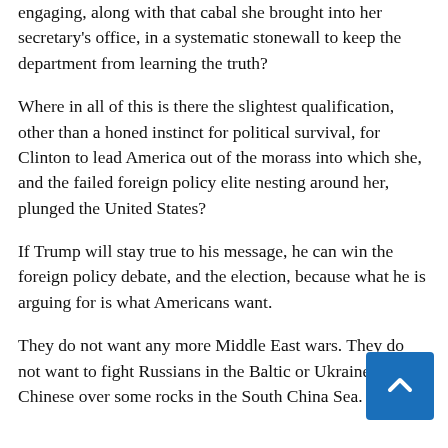engaging, along with that cabal she brought into her secretary's office, in a systematic stonewall to keep the department from learning the truth?
Where in all of this is there the slightest qualification, other than a honed instinct for political survival, for Clinton to lead America out of the morass into which she, and the failed foreign policy elite nesting around her, plunged the United States?
If Trump will stay true to his message, he can win the foreign policy debate, and the election, because what he is arguing for is what Americans want.
They do not want any more Middle East wars. They do not want to fight Russians in the Baltic or Ukraine, or the Chinese over some rocks in the South China Sea.